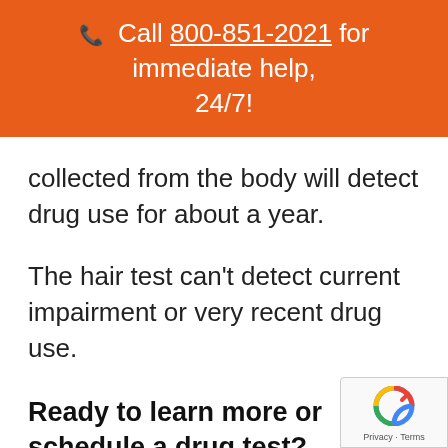📞 Call 800-851-2021 for immediate help, 24/7!
collected from the body will detect drug use for about a year.
The hair test can't detect current impairment or very recent drug use.
Ready to learn more or schedule a drug test?
[Figure (logo): Google reCAPTCHA badge with 'Privacy · Terms' text]